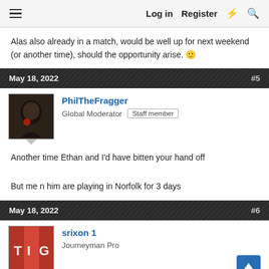Log in   Register
Alas also already in a match, would be well up for next weekend (or another time), should the opportunity arise. 🙂
May 18, 2022  #5
PhilTheFragger
Global Moderator  Staff member
Another time Ethan and I'd have bitten your hand off

But me n him are playing in Norfolk for 3 days
May 18, 2022  #6
srixon 1
Journeyman Pro
I would be up for this but my bags will be all packed and ready to go to